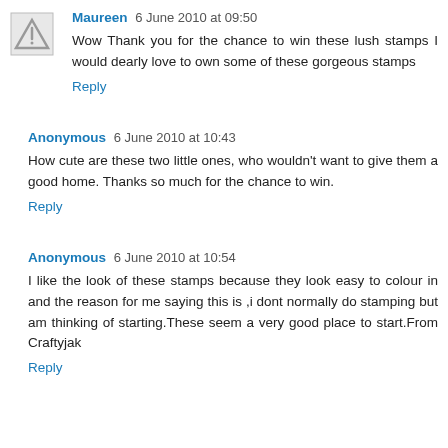Maureen 6 June 2010 at 09:50
Wow Thank you for the chance to win these lush stamps I would dearly love to own some of these gorgeous stamps
Reply
Anonymous 6 June 2010 at 10:43
How cute are these two little ones, who wouldn't want to give them a good home. Thanks so much for the chance to win.
Reply
Anonymous 6 June 2010 at 10:54
I like the look of these stamps because they look easy to colour in and the reason for me saying this is ,i dont normally do stamping but am thinking of starting.These seem a very good place to start.From Craftyjak
Reply